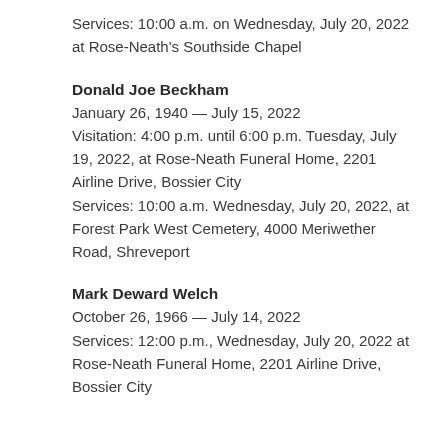Services: 10:00 a.m. on Wednesday, July 20, 2022 at Rose-Neath's Southside Chapel
Donald Joe Beckham
January 26, 1940 — July 15, 2022
Visitation: 4:00 p.m. until 6:00 p.m. Tuesday, July 19, 2022, at Rose-Neath Funeral Home, 2201 Airline Drive, Bossier City
Services: 10:00 a.m. Wednesday, July 20, 2022, at Forest Park West Cemetery, 4000 Meriwether Road, Shreveport
Mark Deward Welch
October 26, 1966 — July 14, 2022
Services: 12:00 p.m., Wednesday, July 20, 2022 at Rose-Neath Funeral Home, 2201 Airline Drive, Bossier City